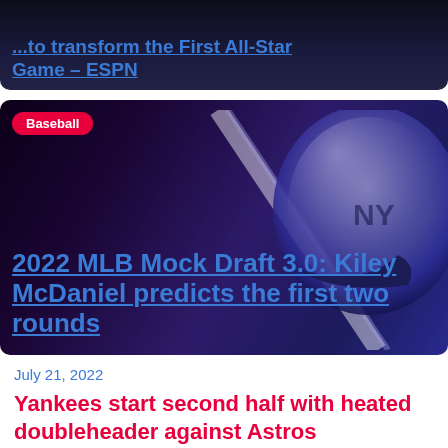[Figure (screenshot): Dark sports article card at top showing partial headline link about ESPN game]
...to transform the First All-Star Game – ESPN
[Figure (screenshot): Dark card with baseball helmet photo, Baseball category tag, and MLB Mock Draft headline]
Baseball
2022 MLB Mock Draft 3.0: Kiley McDaniel predicts the first two rounds
July 21, 2022
Yankees start second half with heated doubleheader against Astros
July 19, 2022
All-Star Game to be decided by home run derby if tied after 9 innings